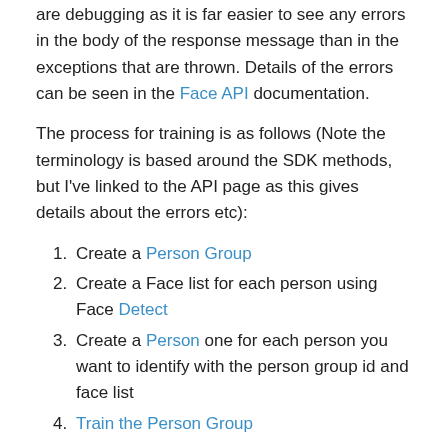One useful tip I've found is to have Fiddler running whilst you are debugging as it is far easier to see any errors in the body of the response message than in the exceptions that are thrown. Details of the errors can be seen in the Face API documentation.
The process for training is as follows (Note the terminology is based around the SDK methods, but I've linked to the API page as this gives details about the errors etc):
Create a Person Group
Create a Face list for each person using Face Detect
Create a Person one for each person you want to identify with the person group id and face list
Train the Person Group
Note: The training does not last forever and you will need to redo it periodically. If you try and detect a person when training has expired then you will get an error response saying that the person group is unknown.